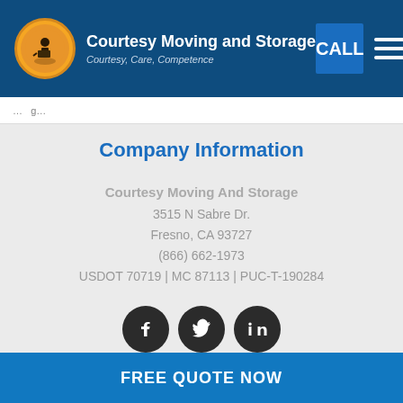Courtesy Moving and Storage — Courtesy, Care, Competence
Company Information
Courtesy Moving And Storage
3515 N Sabre Dr.
Fresno, CA 93727
(866) 662-1973
USDOT 70719 | MC 87113 | PUC-T-190284
[Figure (infographic): Social media icons: Facebook, Twitter, LinkedIn]
FREE QUOTE NOW